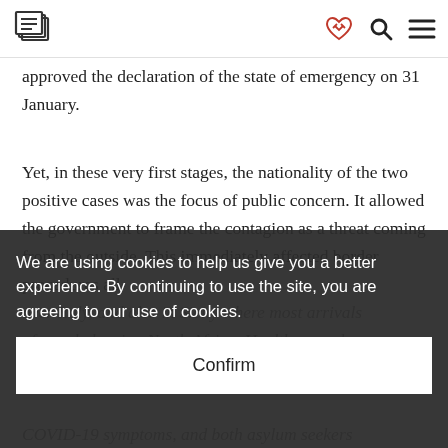[Logo: E] [heart icon] [search icon] [menu icon]
approved the declaration of the state of emergency on 31 January.
Yet, in these very first stages, the nationality of the two positive cases was the focus of public concern. It allowed the government to frame the contagion as a threat coming from the outside. This immediately affected border procedures all over Italy, and also in Sicily where most arrivals of people leaving North Africa. Health procedures COVID-19 symptoms, and both asylum seekers
We are using cookies to help us give you a better experience. By continuing to use the site, you are agreeing to our use of cookies.
Confirm